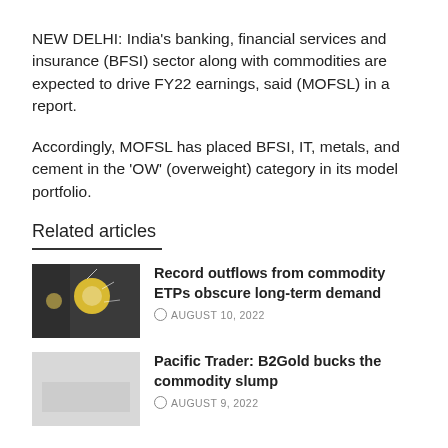NEW DELHI: India's banking, financial services and insurance (BFSI) sector along with commodities are expected to drive FY22 earnings, said (MOFSL) in a report.
Accordingly, MOFSL has placed BFSI, IT, metals, and cement in the 'OW' (overweight) category in its model portfolio.
Related articles
Record outflows from commodity ETPs obscure long-term demand
AUGUST 10, 2022
Pacific Trader: B2Gold bucks the commodity slump
AUGUST 9, 2022